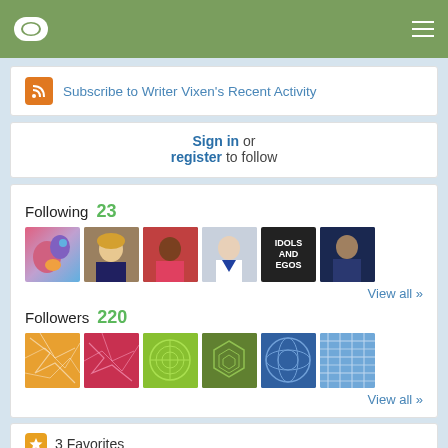Writer Vixen profile page header navigation
Subscribe to Writer Vixen's Recent Activity
Sign in or register to follow
Following 23
[Figure (photo): Row of 6 avatar/profile images for Following]
View all »
Followers 220
[Figure (photo): Row of 6 abstract/patterned follower avatar images]
View all »
3 Favorites
Blogs and Sites
http://writervixen.com
Writer Vixen Explains It All